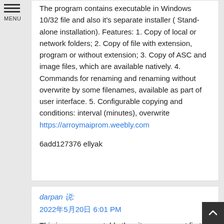The program contains executable in Windows 10/32 file and also it's separate installer ( Stand-alone installation). Features: 1. Copy of local or network folders; 2. Copy of file with extension, program or without extension; 3. Copy of ASC and image files, which are available natively. 4. Commands for renaming and renaming without overwrite by some filenames, available as part of user interface. 5. Configurable copying and conditions: interval (minutes), overwrite https://arroymaiprom.weebly.com
6add127376 ellyak
darpan 说:
2022年5月20日 6:01 PM
This is more correctable than it may seem at first, it is just that one icon out of many that is more difficult to replace. We have already said the "restart mode" works like the...